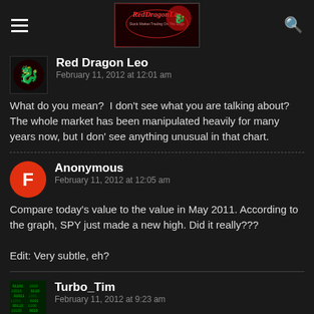Red Dragon Leo — RedDragonLeo blog header
Red Dragon Leo
February 11, 2012 at 12:01 am
What do you mean?  I don't see what you are talking about?  The whole market has been manipulated heavily for many years now, but I don' see anything unusual in that chart.
Anonymous
February 11, 2012 at 12:05 am
Compare today's value to the value in May 2011. According to the graph, SPY just made a new high. Did it really???

Edit: Very subtle, eh?
Turbo_Tim
February 11, 2012 at 9:23 am
http://www.upsidetrader.com/2012/02/11/dow-15000...